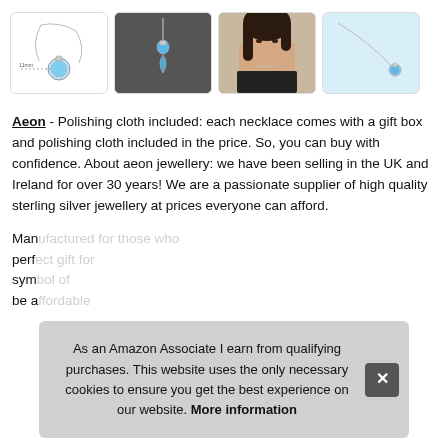[Figure (photo): Four product thumbnail images in a row: (1) white background with sterling silver necklace diagram showing measurements, (2) dark/grey background with blue topaz pendant necklace, (3) woman with dark hair wearing a necklace, (4) light blue background with small blue topaz pendant necklace.]
Aeon - Polishing cloth included: each necklace comes with a gift box and polishing cloth included in the price. So, you can buy with confidence. About aeon jewellery: we have been selling in the UK and Ireland for over 30 years! We are a passionate supplier of high quality sterling silver jewellery at prices everyone can afford.
Man... perf... sym... be a...
As an Amazon Associate I earn from qualifying purchases. This website uses the only necessary cookies to ensure you get the best experience on our website. More information